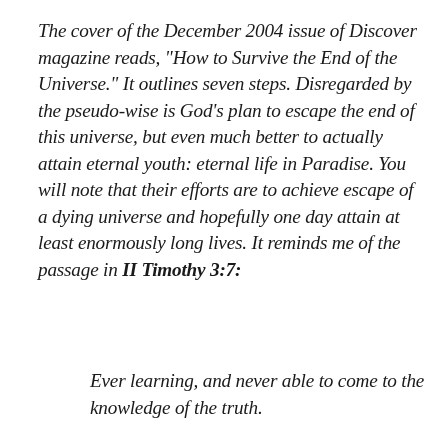The cover of the December 2004 issue of Discover magazine reads, "How to Survive the End of the Universe." It outlines seven steps. Disregarded by the pseudo-wise is God's plan to escape the end of this universe, but even much better to actually attain eternal youth: eternal life in Paradise. You will note that their efforts are to achieve escape of a dying universe and hopefully one day attain at least enormously long lives. It reminds me of the passage in II Timothy 3:7:
Ever learning, and never able to come to the knowledge of the truth.